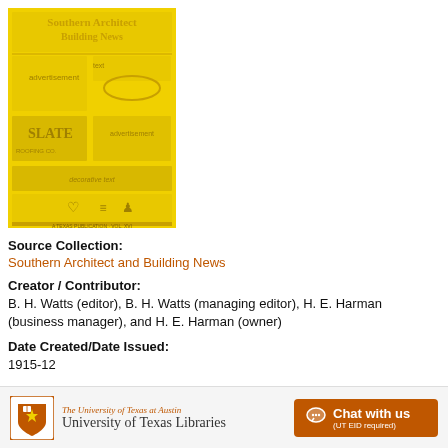[Figure (illustration): Yellow cover of Southern Architect and Building News magazine with text and decorative elements including 'SLATE' visible]
Source Collection:
Southern Architect and Building News
Creator / Contributor:
B. H. Watts (editor), B. H. Watts (managing editor), H. E. Harman (business manager), and H. E. Harman (owner)
Date Created/Date Issued:
1915-12
The University of Texas at Austin University of Texas Libraries   Chat with us (UT EID required)